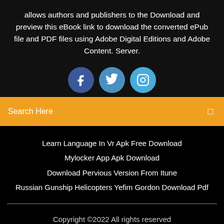allows authors and publishers to the Download and preview this eBook link to download the converted ePub file and PDF files using Adobe Digital Editions and Adobe Content. Server.
[Figure (illustration): Three social media icon circles: Facebook (dark blue), Twitter (medium blue), Instagram (light blue)]
Search Here
Learn Language In Vr Apk Free Download
Mylocker App Apk Download
Download Pervious Version From Itune
Russian Gunship Helicopters Yefim Gordon Download Pdf
Copyright ©2022 All rights reserved